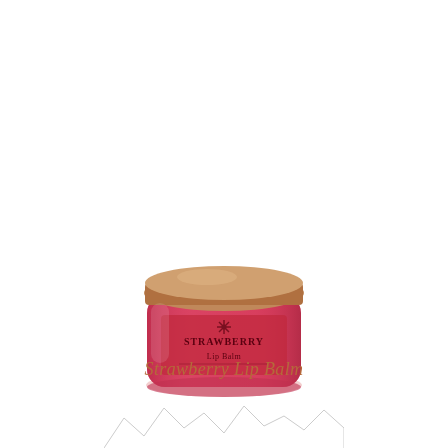[Figure (photo): A small round glass jar of Strawberry Lip Balm with a rose-gold/bronze metallic lid. The jar body is red/pink with a label showing a decorative snowflake or flower motif and the text 'STRAWBERRY Lip Balm'.]
Strawberry Lip Balm
[Figure (illustration): Small mountain range / zigzag decorative border illustration at the bottom of the page.]